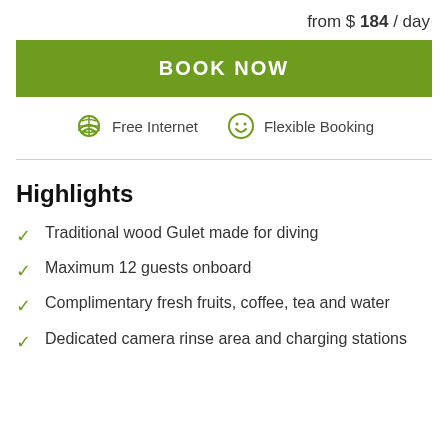from $ 184 / day
BOOK NOW
Free Internet   Flexible Booking
Highlights
Traditional wood Gulet made for diving
Maximum 12 guests onboard
Complimentary fresh fruits, coffee, tea and water
Dedicated camera rinse area and charging stations